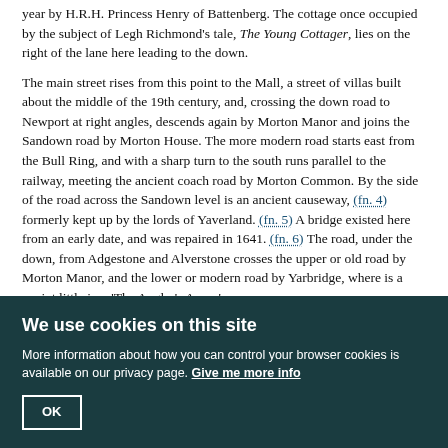year by H.R.H. Princess Henry of Battenberg. The cottage once occupied by the subject of Legh Richmond's tale, The Young Cottager, lies on the right of the lane here leading to the down.
The main street rises from this point to the Mall, a street of villas built about the middle of the 19th century, and, crossing the down road to Newport at right angles, descends again by Morton Manor and joins the Sandown road by Morton House. The more modern road starts east from the Bull Ring, and with a sharp turn to the south runs parallel to the railway, meeting the ancient coach road by Morton Common. By the side of the road across the Sandown level is an ancient causeway, (fn. 4) formerly kept up by the lords of Yaverland. (fn. 5) A bridge existed here from an early date, and was repaired in 1641. (fn. 6) The road, under the down, from Adgestone and Alverstone crosses the upper or old road by Morton Manor, and the lower or modern road by Yarbridge, where is a quaint little inn, 'The Angler's Arms.'
Formerly the water in the haven came up to the present cement mills, where remains of the quay are still visible. Besides these cement works there are lime kilns on the upper road by Morton and brickworks at Sandown.
In 1880 a Romano-British villa was found in a field at Morton, (fn. 7) but was a
We use cookies on this site
More information about how you can control your browser cookies is available on our privacy page. Give me more info
OK